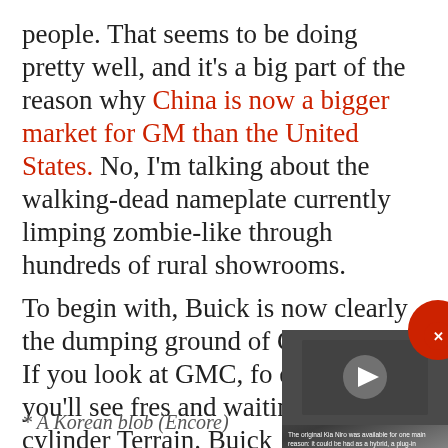people. That seems to be doing pretty well, and it's a big part of the reason why China is now a bigger market for GM than the United States. No, I'm talking about the walking-dead nameplate currently limping zombie-like through hundreds of rural showrooms.
To begin with, Buick is now clearly the dumping ground of GM product. If you look at GMC, for example, you'll see fresh and waiting lists for pr- cylinder Terrain. Buick
[Figure (screenshot): Embedded video thumbnail showing a man standing in front of cars, with subtitle text reading 'The original Kia Niro was available for one main reason: it could be had as a hybrid, a plug-in']
* A Korean blob (Encore)